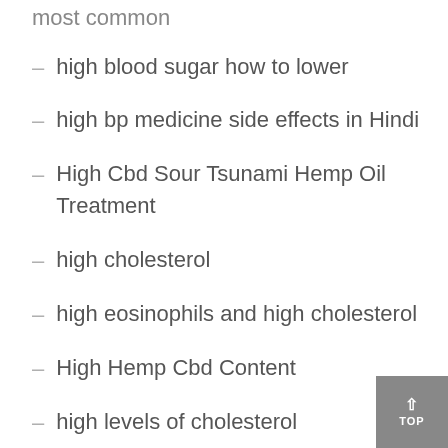most common
high blood sugar how to lower
high bp medicine side effects in Hindi
High Cbd Sour Tsunami Hemp Oil Treatment
high cholesterol
high eosinophils and high cholesterol
High Hemp Cbd Content
high levels of cholesterol
high triglycerides and LDL cholesterol
holistic medicines for diabetes